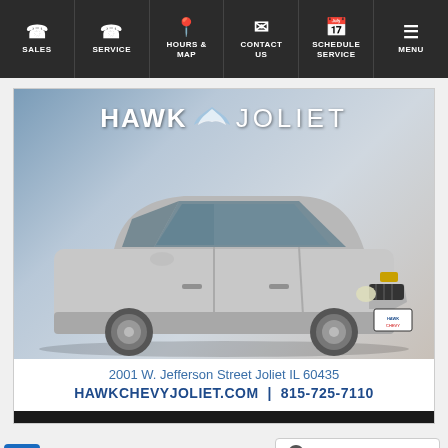SALES | SERVICE | HOURS & MAP | CONTACT US | SCHEDULE SERVICE | MENU
[Figure (photo): Hawk Joliet Chevrolet dealership advertisement showing a silver Chevrolet Equinox SUV with 'HAWK JOLIET' logo at top, address '2001 W. Jefferson Street Joliet IL 60435' and 'HAWKCHEVYJOLIET.COM | 815-725-7110']
AT DEALERSHIP